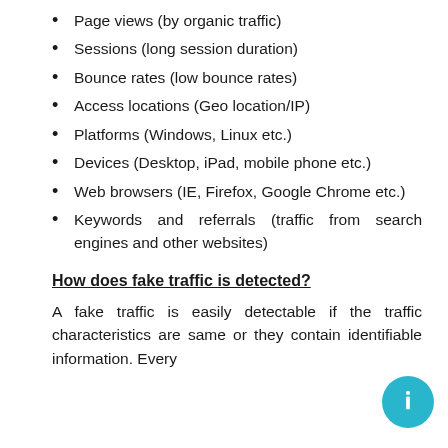Page views (by organic traffic)
Sessions (long session duration)
Bounce rates (low bounce rates)
Access locations (Geo location/IP)
Platforms (Windows, Linux etc.)
Devices (Desktop, iPad, mobile phone etc.)
Web browsers (IE, Firefox, Google Chrome etc.)
Keywords and referrals (traffic from search engines and other websites)
How does fake traffic is detected?
A fake traffic is easily detectable if the traffic characteristics are same or they contain identifiable information. Every